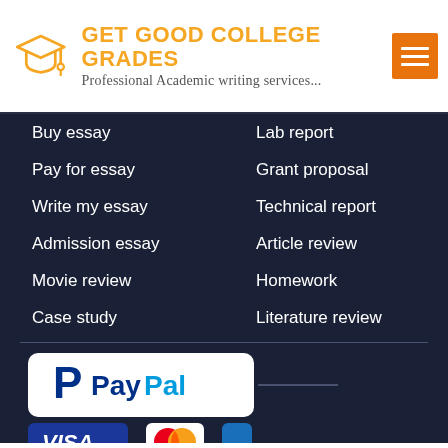[Figure (logo): Get Good College Grades logo with graduation cap icon in orange, title text in orange, subtitle 'Professional Academic writing services...' in script font, and orange hamburger menu button]
Buy essay
Lab report
Pay for essay
Grant proposal
Write my essay
Technical report
Admission essay
Article review
Movie review
Homework
Case study
Literature review
[Figure (screenshot): Payment logos: PayPal card, Visa badge, Mastercard badge, and partially visible credit card logos on dark background]